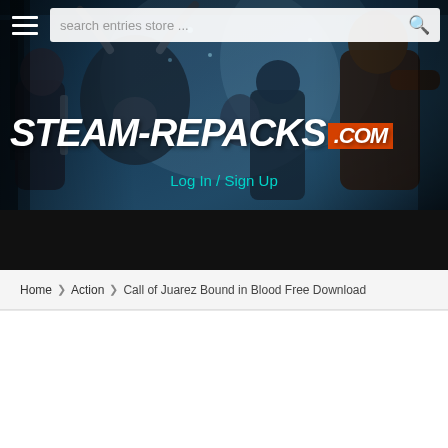[Figure (screenshot): Website header banner for steam-repacks.com showing fantasy/action game characters (warriors, monsters) in a blue-tinted forest battle scene background]
STEAM-REPACKS.COM
Log In / Sign Up
Home > Action > Call of Juarez Bound in Blood Free Download